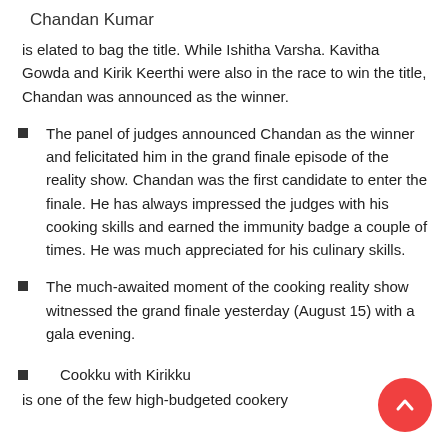Chandan Kumar
is elated to bag the title. While Ishitha Varsha. Kavitha Gowda and Kirik Keerthi were also in the race to win the title, Chandan was announced as the winner.
The panel of judges announced Chandan as the winner and felicitated him in the grand finale episode of the reality show. Chandan was the first candidate to enter the finale. He has always impressed the judges with his cooking skills and earned the immunity badge a couple of times. He was much appreciated for his culinary skills.
The much-awaited moment of the cooking reality show witnessed the grand finale yesterday (August 15) with a gala evening.
Cookku with Kirikku
is one of the few high-budgeted cookery